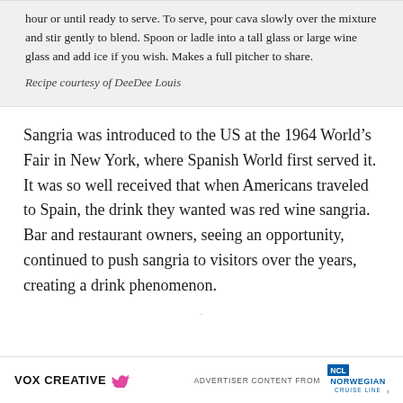hour or until ready to serve. To serve, pour cava slowly over the mixture and stir gently to blend. Spoon or ladle into a tall glass or large wine glass and add ice if you wish. Makes a full pitcher to share.
Recipe courtesy of DeeDee Louis
Sangria was introduced to the US at the 1964 World's Fair in New York, where Spanish World first served it. It was so well received that when Americans traveled to Spain, the drink they wanted was red wine sangria. Bar and restaurant owners, seeing an opportunity, continued to push sangria to visitors over the years, creating a drink phenomenon.
VOX CREATIVE | ADVERTISER CONTENT FROM | NORWEGIAN CRUISE LINE